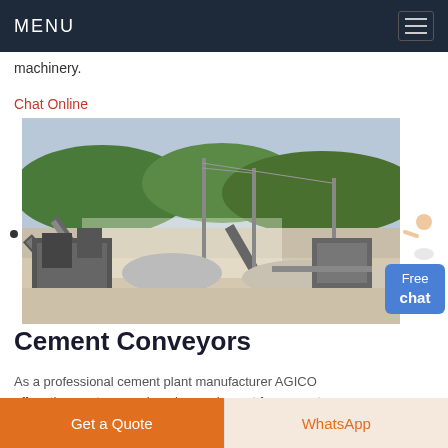MENU
machinery.
Chat Online
[Figure (photo): Industrial cement plant with conveyor systems, machinery, piles of crushed stone/aggregate, tall metal towers and conveyor belts, with hills and blue sky in the background.]
Cement Conveyors
As a professional cement plant manufacturer AGICO offers the most comprehensive equipment for cement